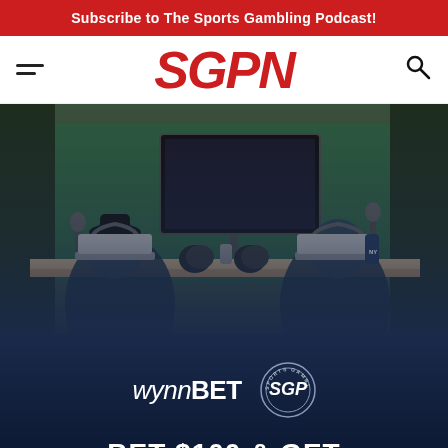Subscribe to The Sports Gambling Podcast!
[Figure (logo): SGPN logo in red italic bold letters]
[Figure (photo): Two podcast hosts sitting at a desk with laptops, microphones, football helmets, wearing headphones in a studio setting. Lower half fades to dark navy blue with WynnBET and Sports Gambling Podcast logos and text BET $100 & GET]
BET $100 & GET